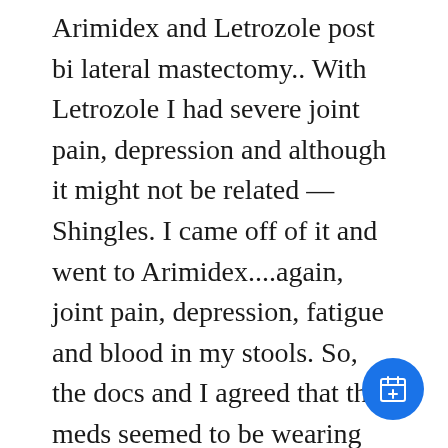Arimidex and Letrozole post bi lateral mastectomy.. With Letrozole I had severe joint pain, depression and although it might not be related — Shingles. I came off of it and went to Arimidex....again, joint pain, depression, fatigue and blood in my stools. So, the docs and I agreed that the meds seemed to be wearing me down so much everything that could possiblyy happen was going to happen. I had virtually every side effect...the ones I mentioned were the most pronounced. I opted to go drug free unless I have a recurrence then I would consider the AI's. My cancer risk recurrence is 8% they say it would be about 4% with the drugs. I
[Figure (other): Blue circular floating action button with a calendar/add icon]